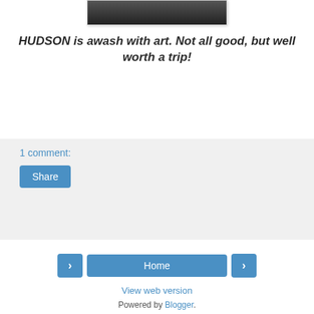[Figure (photo): A cropped photo of people, partially visible at the top of the page, dark toned image.]
HUDSON is awash with art. Not all good, but well worth a trip!
1 comment:
Share
Home
View web version
Powered by Blogger.